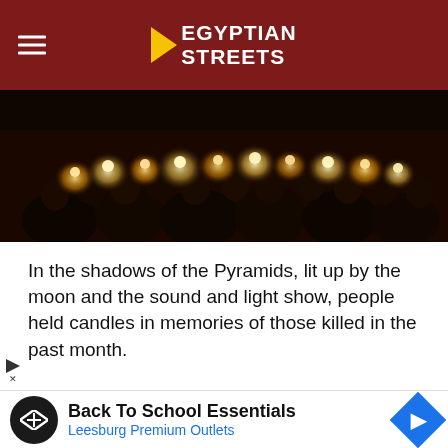Egyptian Streets
[Figure (photo): People holding candles in the dark, commemorating victims, photographed at night near the Pyramids area.]
In the shadows of the Pyramids, lit up by the moon and the sound and light show, people held candles in memories of those killed in the past month.
[Figure (screenshot): Embedded tweet from @Conflicts (Conflict News) with Twitter bird icon and Follow button, showing text: OTOS: #Egypt commemorates victims of terror with...]
[Figure (infographic): Advertisement banner: Back To School Essentials - Leesburg Premium Outlets, with circular logo and blue navigation icon.]